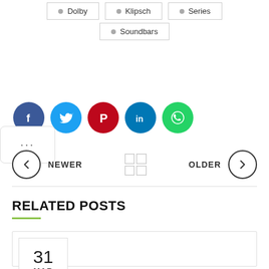Dolby
Klipsch
Series
Soundbars
[Figure (infographic): Social media share buttons: Facebook (dark blue), Twitter (light blue), Pinterest (red), LinkedIn (dark blue), WhatsApp (green), and a partially visible more button with ellipsis]
[Figure (infographic): Navigation bar with NEWER (left arrow circle) on left, grid icon in center, and OLDER (right arrow circle) on right]
RELATED POSTS
[Figure (infographic): Related post card with date box showing 31 MAR]